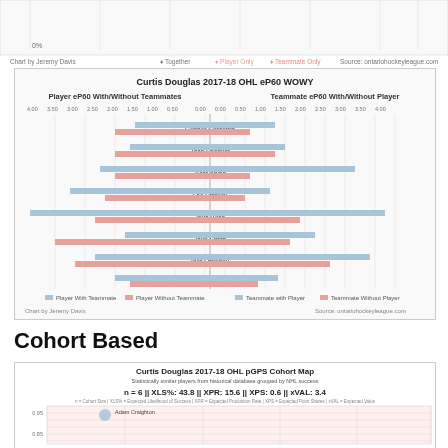[Figure (grouped-bar-chart): Two-sided horizontal bar chart. Left side: Player eP60 With/Without Teammates. Right side: Teammate eP60 With/Without Player. Players listed: Connor Corcoran, Zach Shankar, Tyler Angle, Leo Starkov, Jake Bosa, Jake Smith, Igor Larionov, Jake Bignell.]
Chart by Jeremy Davis   • Together   • Player Only   • Teammate Only   Source: ontariohockeyleague.com
Cohort Based
[Figure (scatter-plot): Scatter plot showing cohort map. n=6, XLS%: 43.8, XPR: 15.6, XPS: 0.6, xVAL: 3.4. One visible point labeled 'Adam Craighton' near coordinates (0.95 y-axis area).]